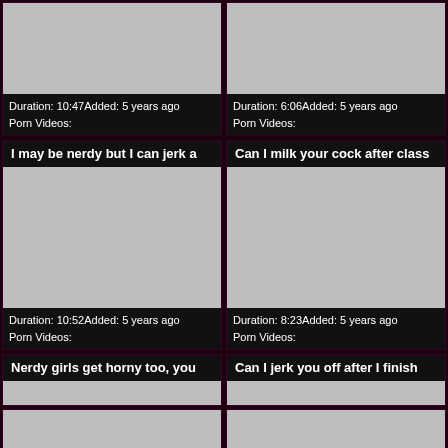[Figure (screenshot): Video thumbnail placeholder grey box top-left]
Duration: 10:47Added: 5 years ago
Porn Videos:
[Figure (screenshot): Video thumbnail placeholder grey box top-right]
Duration: 6:06Added: 5 years ago
Porn Videos:
I may be nerdy but I can jerk a
[Figure (screenshot): Video thumbnail placeholder grey box middle-left]
Duration: 10:52Added: 5 years ago
Porn Videos:
Can I milk your cock after class
[Figure (screenshot): Video thumbnail placeholder grey box middle-right]
Duration: 8:23Added: 5 years ago
Porn Videos:
Nerdy girls get horny too, you
Can I jerk you off after I finish